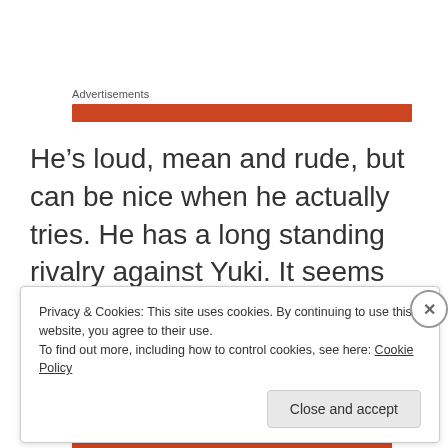Advertisements
He’s loud, mean and rude, but can be nice when he actually tries. He has a long standing rivalry against Yuki. It seems like he hates him, but he’s actually fairly jealous of him and vice versa.
Privacy & Cookies: This site uses cookies. By continuing to use this website, you agree to their use.
To find out more, including how to control cookies, see here: Cookie Policy
Close and accept